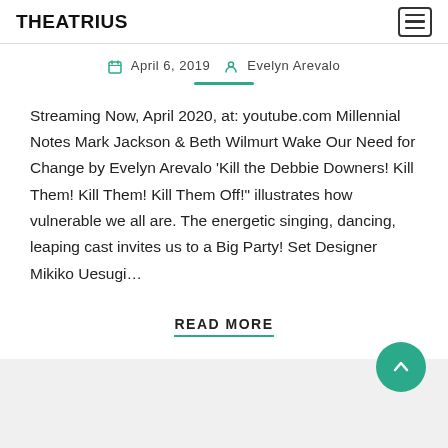THEATRIUS
April 6, 2019  Evelyn Arevalo
Streaming Now, April 2020, at: youtube.com Millennial Notes Mark Jackson & Beth Wilmurt Wake Our Need for Change by Evelyn Arevalo ‘Kill the Debbie Downers! Kill Them! Kill Them! Kill Them Off!” illustrates how vulnerable we all are. The energetic singing, dancing, leaping cast invites us to a Big Party! Set Designer Mikiko Uesugi…
READ MORE